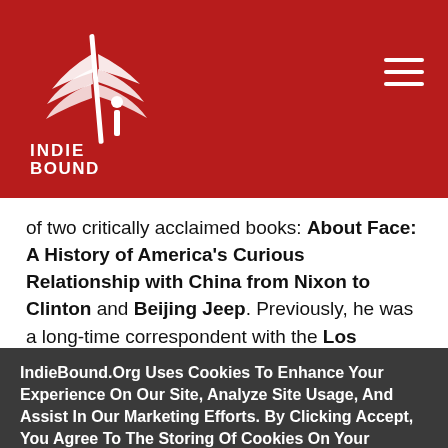IndieBound logo and navigation header
[Figure (logo): IndieBound logo - white feather/quill design with INDIE BOUND text below on red background]
of two critically acclaimed books: About Face: A History of America's Curious Relationship with China from Nixon to Clinton and Beijing Jeep. Previously, he was a long-time correspondent with the Los Angeles Times, and his writing has also appeared in The New Republic and The Atlantic
IndieBound.Org Uses Cookies To Enhance Your Experience On Our Site, Analyze Site Usage, And Assist In Our Marketing Efforts. By Clicking Accept, You Agree To The Storing Of Cookies On Your Device. View Our Cookie Policy.
Give me more info
Accept all Cookies